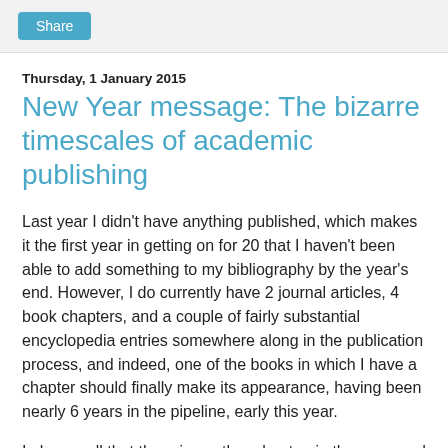Share
Thursday, 1 January 2015
New Year message: The bizarre timescales of academic publishing
Last year I didn't have anything published, which makes it the first year in getting on for 20 that I haven't been able to add something to my bibliography by the year's end. However, I do currently have 2 journal articles, 4 book chapters, and a couple of fairly substantial encyclopedia entries somewhere along in the publication process, and indeed, one of the books in which I have a chapter should finally make its appearance, having been nearly 6 years in the pipeline, early this year.
I also recall that there is another chapter, in the proposed proceedings of an archives conference which took place in the spring of 2007, about which I have heard nothing for a very long time, and assume that the project has quietly expired. Not that one can always count on this: it is not